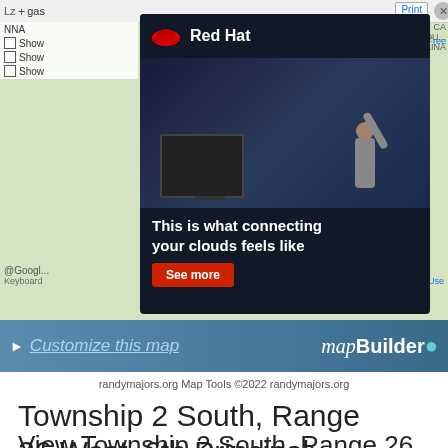[Figure (screenshot): Screenshot of a mapping website (randymajors.org) showing a Google Maps interface with a Red Hat advertisement overlay. The ad shows a dark-themed image of a person at a computer with the tagline 'This is what connecting your clouds feels like' and a 'See more' button. Below the map is a 'Customize this map' strip and mapBuilder branding.]
randymajors.org Map Tools ©2022 randymajors.org
Township 2 South, Range 26 West, 6th Principal Meridian, Kansas
View Township 2 South, Range 26 West, 6th Principal